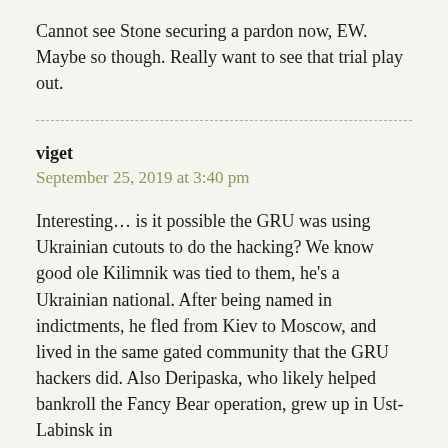Cannot see Stone securing a pardon now, EW. Maybe so though. Really want to see that trial play out.
viget
September 25, 2019 at 3:40 pm
Interesting… is it possible the GRU was using Ukrainian cutouts to do the hacking? We know good ole Kilimnik was tied to them, he's a Ukrainian national. After being named in indictments, he fled from Kiev to Moscow, and lived in the same gated community that the GRU hackers did. Also Deripaska, who likely helped bankroll the Fancy Bear operation, grew up in Ust-Labinsk in